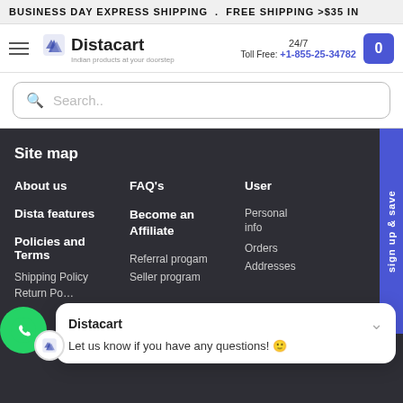BUSINESS DAY EXPRESS SHIPPING . FREE SHIPPING >$35 IN
[Figure (logo): Distacart logo with icon and tagline 'Indian products at your doorstep']
24/7 Toll Free: +1-855-25-34782
Search..
Site map
About us
FAQ's
User
Dista features
Become an Affiliate
Personal info
Policies and Terms
Referral progam
Orders
Shipping Policy
Seller program
Addresses
Return Po...
...cy P...
Distacart
Let us know if you have any questions! 😊